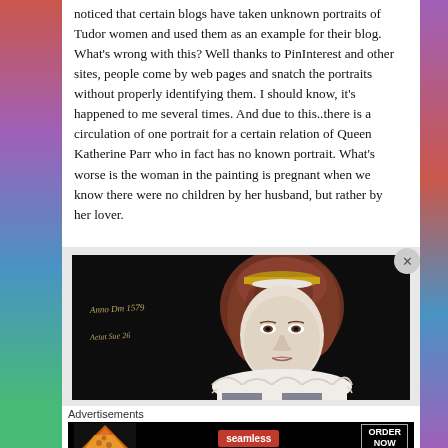noticed that certain blogs have taken unknown portraits of Tudor women and used them as an example for their blog. What's wrong with this? Well thanks to PinInterest and other sites, people come by web pages and snatch the portraits without properly identifying them. I should know, it's happened to me several times. And due to this..there is a circulation of one portrait for a certain relation of Queen Katherine Parr who in fact has no known portrait. What's worse is the woman in the painting is pregnant when we know there were no children by her husband, but rather by her lover.
[Figure (photo): A Tudor-era portrait painting of a woman with reddish-brown curly hair wearing a ruff collar and headband. Latin text inscription visible on the dark background reading 'Anno Dm 1579' and 'Aetat Sue 26'.]
Advertisements
[Figure (screenshot): Seamless food delivery advertisement banner showing pizza on the left, Seamless logo in red center, and ORDER NOW button on the right.]